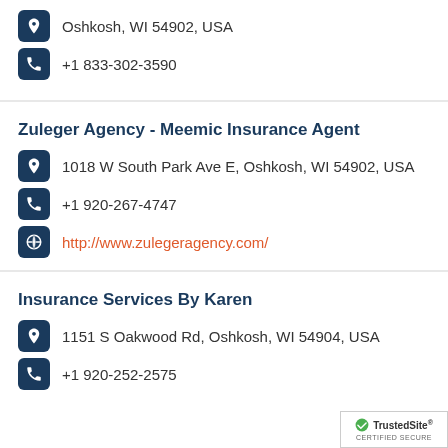Oshkosh, WI 54902, USA
+1 833-302-3590
Zuleger Agency - Meemic Insurance Agent
1018 W South Park Ave E, Oshkosh, WI 54902, USA
+1 920-267-4747
http://www.zulegeragency.com/
Insurance Services By Karen
1151 S Oakwood Rd, Oshkosh, WI 54904, USA
+1 920-252-2575